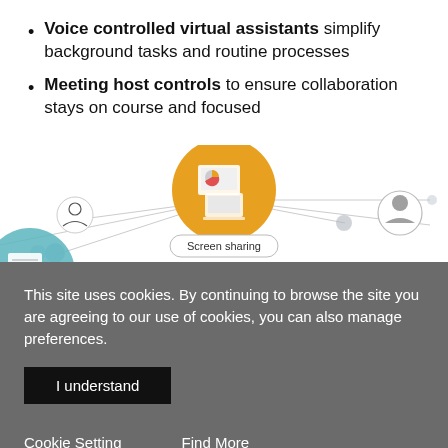Voice controlled virtual assistants simplify background tasks and routine processes
Meeting host controls to ensure collaboration stays on course and focused
[Figure (illustration): Network diagram showing screen sharing in a video collaboration tool. Central node with orange circle contains icons of presentation screens with charts. Connected to several participant nodes (person icons in circles). One node labeled 'Screen sharing'. Bottom-left shows a teal circle with document/writing icon.]
This site uses cookies. By continuing to browse the site you are agreeing to our use of cookies, you can also manage preferences.
I understand
Cookie Setting    Find More